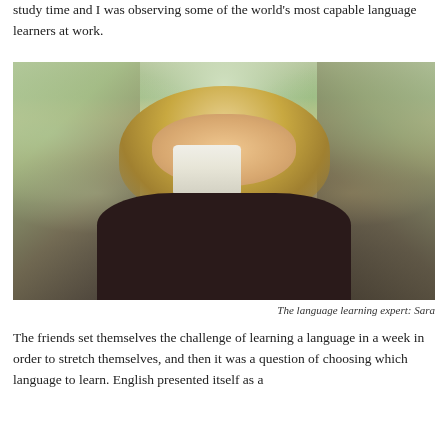study time and I was observing some of the world's most capable language learners at work.
[Figure (photo): A blonde woman with glasses drinking from a white cup, standing outdoors in a park-like setting with blurred background.]
The language learning expert: Sara
The friends set themselves the challenge of learning a language in a week in order to stretch themselves, and then it was a question of choosing which language to learn. English presented itself as a